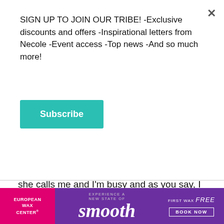SIGN UP TO JOIN OUR TRIBE! -Exclusive discounts and offers -Inspirational letters from Necole -Event access -Top news -And so much more!
Subscribe
100 percent. You're alluding to a scene where she calls me and I'm busy and as you say, I don't pay her the right amount of attention. I do think the film is about not taking anything for granted. You know, treasuring those relationships. And in the case of my character, what someone would then be prepared to do once they realize how painful it is to lose someone you love and what you're prepared to do
[Figure (infographic): European Wax Center advertisement banner. Pink left section with 'EUROPEAN WAX CENTER' logo. Purple center with text 'EXPERIENCE A NEW STATE OF smooth'. Right section with 'FIRST WAX free BOOK NOW' text on purple background.]